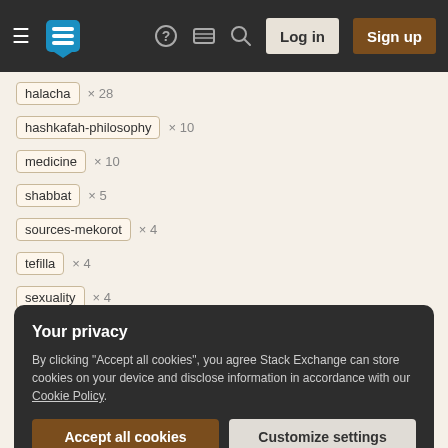[Figure (screenshot): Stack Exchange website navigation bar with hamburger menu, logo, help icon, chat icon, search icon, Log in button, and Sign up button on dark background]
halacha × 28
hashkafah-philosophy × 10
medicine × 10
shabbat × 5
sources-mekorot × 4
tefilla × 4
sexuality × 4
choleh-sick × 4
Your privacy
By clicking "Accept all cookies", you agree Stack Exchange can store cookies on your device and disclose information in accordance with our Cookie Policy.
Accept all cookies
Customize settings
jewish-books × 2